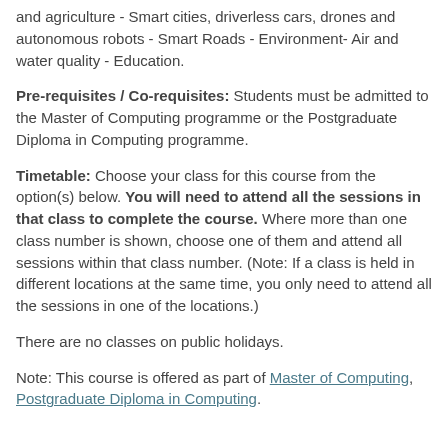and agriculture - Smart cities, driverless cars, drones and autonomous robots - Smart Roads - Environment- Air and water quality - Education.
Pre-requisites / Co-requisites: Students must be admitted to the Master of Computing programme or the Postgraduate Diploma in Computing programme.
Timetable: Choose your class for this course from the option(s) below. You will need to attend all the sessions in that class to complete the course. Where more than one class number is shown, choose one of them and attend all sessions within that class number. (Note: If a class is held in different locations at the same time, you only need to attend all the sessions in one of the locations.)
There are no classes on public holidays.
Note: This course is offered as part of Master of Computing, Postgraduate Diploma in Computing.